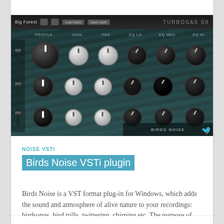[Figure (screenshot): VST plugin UI screenshot showing 'Birds Noise' plugin with mixer-style interface: top black bar with 'Big Forest' preset name and Load/Save bank buttons, then rows of knobs labeled PROFILE, GAIN, PAN, EQ LO, EQ MED, EQ HI with teal wavy texture background, left sidebar with sliders, and 'BIRDS NOISE' label at bottom right.]
NOISE VSTI
Birds Noise VSTi plugin
Birds Noise is a VST format plug-in for Windows, which adds the sound and atmosphere of alive nature to your recordings: birdsongs, bird trills, twittering, chirping etc. The purpose of...